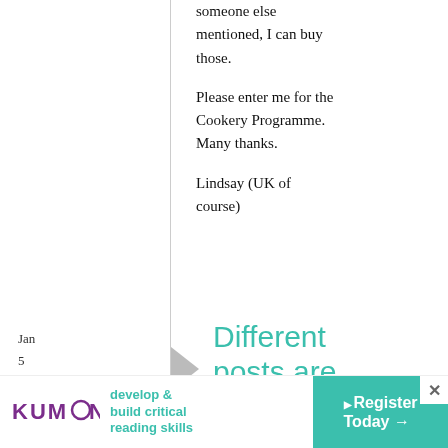someone else mentioned, I can buy those.
Please enter me for the Cookery Programme. Many thanks.
Lindsay (UK of course)
Jan
5
December, 2008
Different posts are
[Figure (other): Kumon advertisement banner: develop & build critical reading skills. Register Today arrow button.]